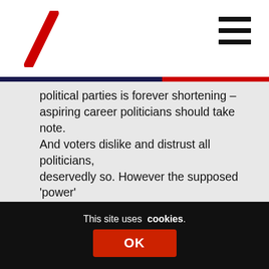[Figure (logo): Red diagonal slash logo (backslash shape) in top left corner]
[Figure (other): Hamburger menu icon (three horizontal lines) in top right corner]
political parties is forever shortening – aspiring career politicians should take note. And voters dislike and distrust all politicians, deservedly so. However the supposed ‘power’ wielded by politicians is highly exaggerated, in this article also. It matters little who sits on Holyrood’s seats; well over 90% of the public sector budget each year is always heading for the same departments and quangos irrespective of what might be called a ‘new government’ or ‘new policies’. The amounts spent on things the SNP shout about that they argue differentiates them – tuition fees,
This site uses cookies.
OK